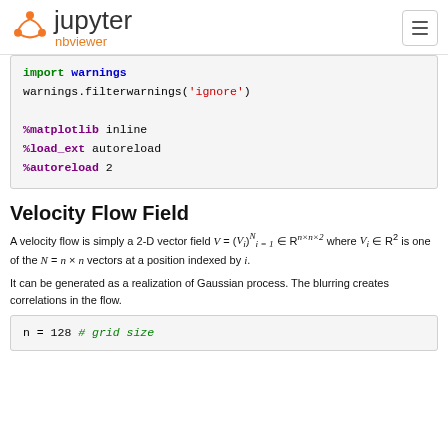Jupyter nbviewer
import warnings
warnings.filterwarnings('ignore')

%matplotlib inline
%load_ext autoreload
%autoreload 2
Velocity Flow Field
A velocity flow is simply a 2-D vector field V = (V_i)_{i=1}^{N} ∈ R^{n×n×2} where V_i ∈ R^2 is one of the N = n × n vectors at a position indexed by i.
It can be generated as a realization of Gaussian process. The blurring creates correlations in the flow.
n = 128 # grid size